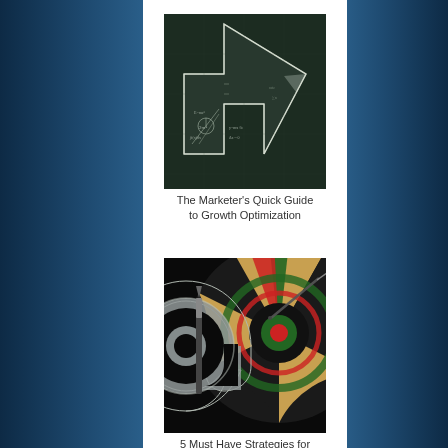[Figure (illustration): Dark chalkboard background with a large upward-pointing arrow shape composed of mathematical equations, diagrams and chalk-drawn formulas]
The Marketer's Quick Guide to Growth Optimization
[Figure (photo): Close-up photo of a dartboard with a dart hitting near center, and a large @ symbol (like a key or sculpture) in the foreground on the left]
5 Must Have Strategies for Contemporary Email